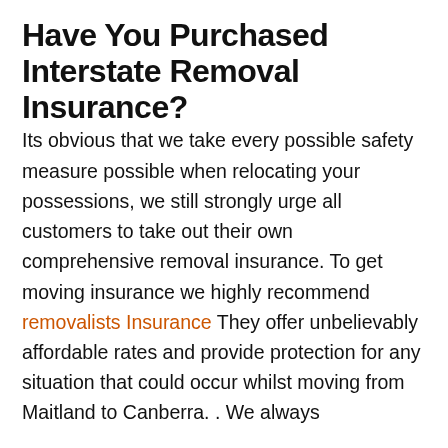Have You Purchased Interstate Removal Insurance?
Its obvious that we take every possible safety measure possible when relocating your possessions, we still strongly urge all customers to take out their own comprehensive removal insurance. To get moving insurance we highly recommend removalists Insurance They offer unbelievably affordable rates and provide protection for any situation that could occur whilst moving from Maitland to Canberra. . We always